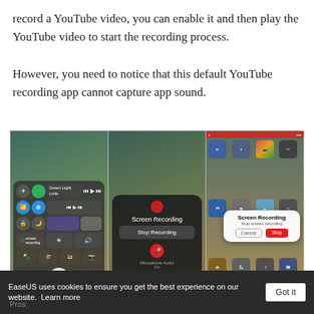record a YouTube video, you can enable it and then play the YouTube video to start the recording process.

However, you need to notice that this default YouTube recording app cannot capture app sound.
[Figure (screenshot): Three iPhone screenshots showing iOS screen recording process: (1) Control Center with screen recording button, (2) Screen Recording popup with 'Stop Recording' option and microphone toggle, (3) iOS home screen with 'Screen Recording - Stop screen recording' dialog with Cancel and Stop buttons.]
EaseUS uses cookies to ensure you get the best experience on our website.  Learn more   Got it